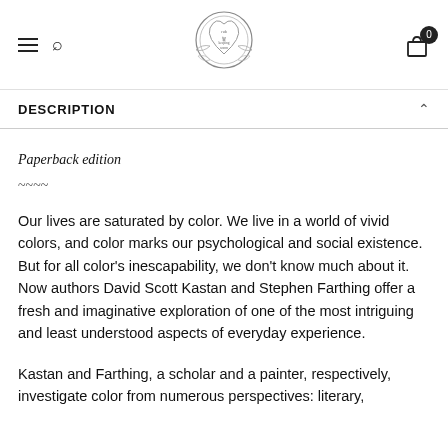rub for keeping warm — navigation header with logo, hamburger menu, search, and cart (0 items)
DESCRIPTION
Paperback edition
~~~~
Our lives are saturated by color. We live in a world of vivid colors, and color marks our psychological and social existence. But for all color's inescapability, we don't know much about it. Now authors David Scott Kastan and Stephen Farthing offer a fresh and imaginative exploration of one of the most intriguing and least understood aspects of everyday experience.
Kastan and Farthing, a scholar and a painter, respectively, investigate color from numerous perspectives: literary,